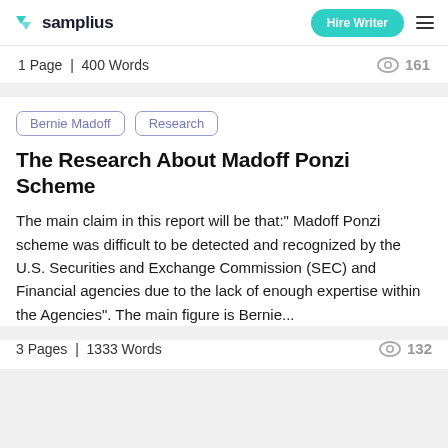samplius | Hire Writer
1 Page | 400 Words  161
Bernie Madoff
Research
The Research About Madoff Ponzi Scheme
The main claim in this report will be that:" Madoff Ponzi scheme was difficult to be detected and recognized by the U.S. Securities and Exchange Commission (SEC) and Financial agencies due to the lack of enough expertise within the Agencies". The main figure is Bernie...
3 Pages | 1333 Words  132